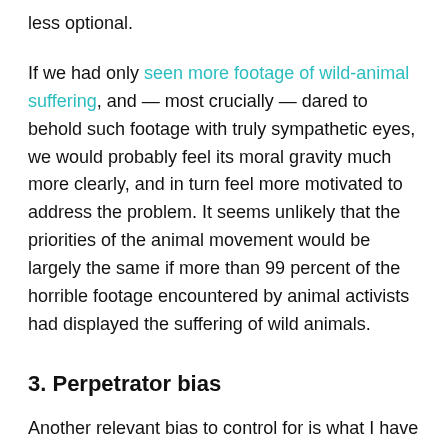less optional.
If we had only seen more footage of wild-animal suffering, and — most crucially — dared to behold such footage with truly sympathetic eyes, we would probably feel its moral gravity much more clearly, and in turn feel more motivated to address the problem. It seems unlikely that the priorities of the animal movement would be largely the same if more than 99 percent of the horrible footage encountered by animal activists had displayed the suffering of wild animals.
3. Perpetrator bias
Another relevant bias to control for is what I have called the perpetrator bias: we seem to care more about suffering when it is caused by a moral agent